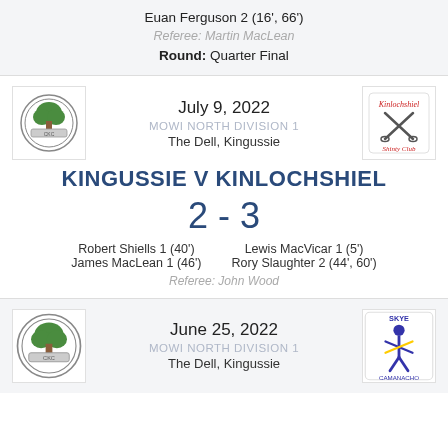Euan Ferguson 2 (16', 66')
Referee: Martin MacLean
Round: Quarter Final
July 9, 2022
MOWI NORTH DIVISION 1
The Dell, Kingussie
KINGUSSIE v KINLOCHSHIEL
2 - 3
Robert Shiells 1 (40')
Lewis MacVicar 1 (5')
James MacLean 1 (46')
Rory Slaughter 2 (44', 60')
Referee: John Wood
June 25, 2022
MOWI NORTH DIVISION 1
The Dell, Kingussie